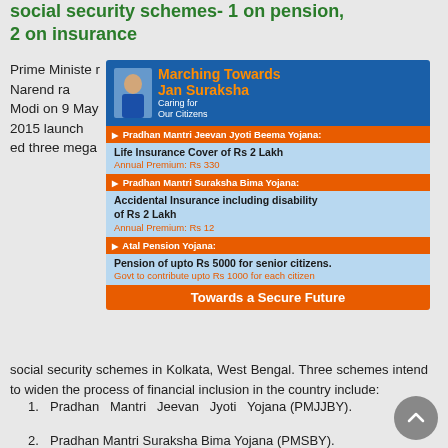social security schemes- 1 on pension, 2 on insurance
[Figure (infographic): Jan Suraksha infographic showing PM Narendra Modi with three social security schemes: Pradhan Mantri Jeevan Jyoti Beema Yojana (Life Insurance Cover of Rs 2 Lakh, Annual Premium Rs 330), Pradhan Mantri Suraksha Bima Yojana (Accidental Insurance including disability of Rs 2 Lakh, Annual Premium Rs 12), Atal Pension Yojana (Pension of upto Rs 5000 for senior citizens, Govt to contribute upto Rs 1000 for each citizen). Bottom banner: Towards a Secure Future]
Prime Minister Narendra Modi on 9 May 2015 launched three mega social security schemes in Kolkata, West Bengal. Three schemes intend to widen the process of financial inclusion in the country include:
Pradhan Mantri Jeevan Jyoti Yojana (PMJJBY).
Pradhan Mantri Suraksha Bima Yojana (PMSBY).